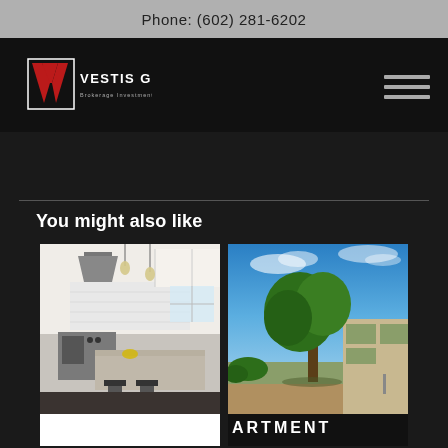Phone: (602) 281-6202
[Figure (logo): Vestis Group logo with red V mark and text 'Vestis Group Brokerage Investment Development' on black nav bar]
You might also like
[Figure (photo): Modern white kitchen interior with stainless steel appliances, island with bar stools, pendant lights]
[Figure (photo): Outdoor photo of a tree with blue sky, apartment building exterior visible in background with partial text 'ARTMENT']